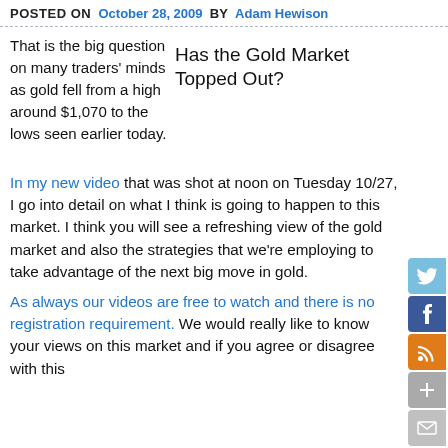POSTED ON  October 28, 2009  BY  Adam Hewison
Has the Gold Market Topped Out?
That is the big question on many traders' minds as gold fell from a high around $1,070 to the lows seen earlier today.
In my new video that was shot at noon on Tuesday 10/27, I go into detail on what I think is going to happen to this market. I think you will see a refreshing view of the gold market and also the strategies that we're employing to take advantage of the next big move in gold.
As always our videos are free to watch and there is no registration requirement. We would really like to know your views on this market and if you agree or disagree with this